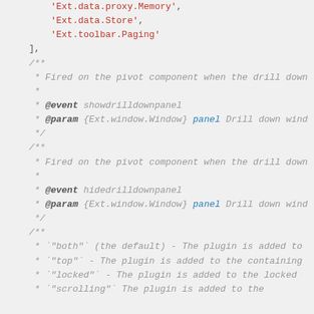code snippet showing JavaScript documentation comments and array entries
'Ext.data.proxy.Memory', 'Ext.data.Store', 'Ext.toolbar.Paging'
/** * Fired on the pivot component when the drill down * * @event showdrilldownpanel * @param {Ext.window.Window} panel Drill down wind * /
/** * Fired on the pivot component when the drill down * * @event hidedrilldownpanel * @param {Ext.window.Window} panel Drill down wind * /
/** * `"both"` (the default) - The plugin is added to * `"top"` - The plugin is added to the containing * `"locked"` - The plugin is added to the locked * `"scrolling"` - The plugin is added to the locked